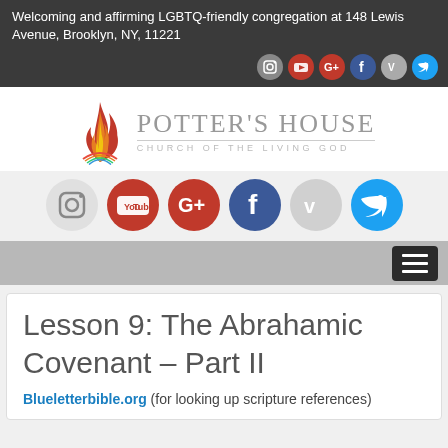Welcoming and affirming LGBTQ-friendly congregation at 148 Lewis Avenue, Brooklyn, NY, 11221
[Figure (logo): Social media icons row (small): Instagram, YouTube, Google+, Facebook, Vimeo, Twitter in top dark bar]
[Figure (logo): Potter's House Church of the Living God logo with flame graphic]
[Figure (logo): Social media icons row (large): Instagram, YouTube, Google+, Facebook, Vimeo, Twitter]
[Figure (other): Navigation bar with hamburger menu button]
Lesson 9: The Abrahamic Covenant – Part II
Blueletterbible.org (for looking up scripture references)